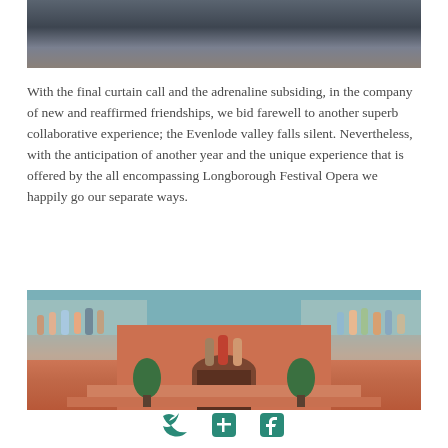[Figure (photo): Partial photo showing person seated in jeans, cropped at top of page]
With the final curtain call and the adrenaline subsiding, in the company of new and reaffirmed friendships, we bid farewell to another superb collaborative experience; the Evenlode valley falls silent. Nevertheless, with the anticipation of another year and the unique experience that is offered by the all encompassing Longborough Festival Opera we happily go our separate ways.
[Figure (photo): Group photo of people standing and waving on a terrace with lattice fencing, in front of a terracotta-coloured building with an arched doorway and topiary trees]
[Figure (other): Social media icons at bottom of page: Twitter, LinkedIn, Facebook]